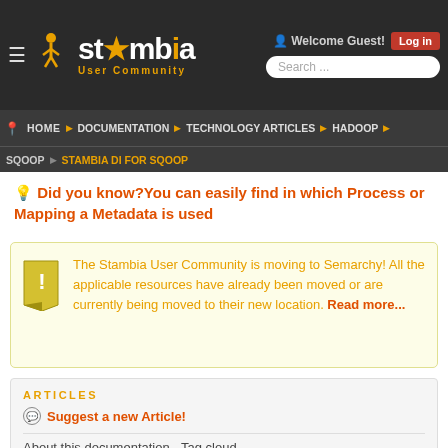Stambia User Community — Welcome Guest! Log in — Search ...
HOME DOCUMENTATION TECHNOLOGY ARTICLES HADOOP SQOOP STAMBIA DI FOR SQOOP
💡 Did you know?You can easily find in which Process or Mapping a Metadata is used
The Stambia User Community is moving to Semarchy! All the applicable resources have already been moved or are currently being moved to their new location. Read more...
ARTICLES
Suggest a new Article!
About this documentation - Tag cloud